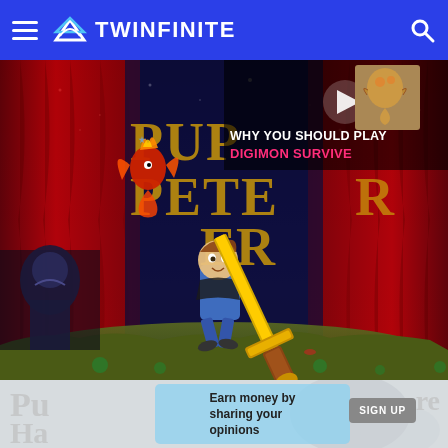TWINFINITE
[Figure (screenshot): Puppeteer game screenshot showing animated characters including a boy with a golden sword running on a stage with red curtains and a small red phoenix-like creature, with a video overlay showing 'WHY YOU SHOULD PLAY DIGIMON SURVIVE' and a Digimon character thumbnail in the top right]
Pu
Earn money by sharing your opinions
SIGN UP
re
Ha